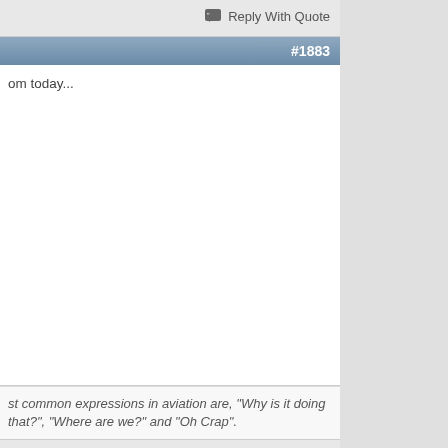Reply With Quote
#1883
om today...
st common expressions in aviation are, "Why is it doing that?", "Where are we?" and "Oh Crap".
Reply With Quote
#1884
Originally Posted by Derf